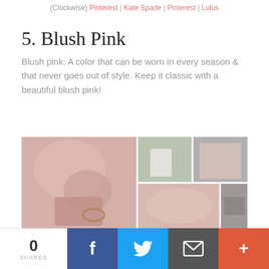(Clockwise) Pinterest | Kate Spade | Pinterest | Lulus
5. Blush Pink
Blush pink: A color that can be worn in every season & that never goes out of style. Keep it classic with a beautiful blush pink!
[Figure (photo): Collage of blush pink fashion items: handbag and coat close-up, white tote bag outfit, pink blazer outfit, pink sweater, accessories]
0 SHARES | Facebook | Twitter | Email | More